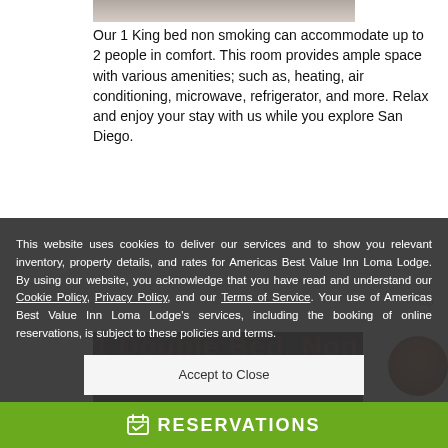[Figure (photo): Top portion of a hotel room photo, cropped at top of page]
Our 1 King bed non smoking can accommodate up to 2 people in comfort. This room provides ample space with various amenities; such as, heating, air conditioning, microwave, refrigerator, and more. Relax and enjoy your stay with us while you explore San Diego.
This website uses cookies to deliver our services and to show you relevant inventory, property details, and rates for Americas Best Value Inn Loma Lodge. By using our website, you acknowledge that you have read and understand our Cookie Policy, Privacy Policy, and our Terms of Service. Your use of Americas Best Value Inn Loma Lodge's services, including the booking of online reservations, is subject to these policies and terms.
Accept to Close
1 Double Bed, Non Smoking
[Figure (photo): Bottom portion showing a hotel room interior, partially visible]
RESERVATIONS